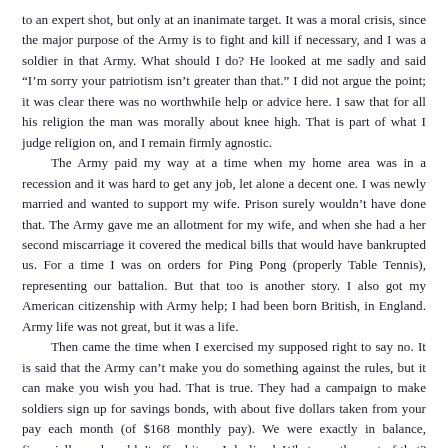to an expert shot, but only at an inanimate target. It was a moral crisis, since the major purpose of the Army is to fight and kill if necessary, and I was a soldier in that Army. What should I do? He looked at me sadly and said "I'm sorry your patriotism isn't greater than that." I did not argue the point; it was clear there was no worthwhile help or advice here. I saw that for all his religion the man was morally about knee high. That is part of what I judge religion on, and I remain firmly agnostic.

The Army paid my way at a time when my home area was in a recession and it was hard to get any job, let alone a decent one. I was newly married and wanted to support my wife. Prison surely wouldn't have done that. The Army gave me an allotment for my wife, and when she had a her second miscarriage it covered the medical bills that would have bankrupted us. For a time I was on orders for Ping Pong (properly Table Tennis), representing our battalion. But that too is another story. I also got my American citizenship with Army help; I had been born British, in England. Army life was not great, but it was a life.

Then came the time when I exercised my supposed right to say no. It is said that the Army can't make you do something against the rules, but it can make you wish you had. That is true. They had a campaign to make soldiers sign up for savings bonds, with about five dollars taken from your pay each month (of $168 monthly pay). We were exactly in balance, financially, and couldn't afford it, so I declined. What was the cost of that? They blacklisted me for promotions; I was a PFC at the time, due for promotion, but I left the army a PFC. They summoned all off-post personnel to report for early morning revile, letting them all know it was because of me. They hauled me from the survey class I was teaching and put me to work with a spade leveling the sand of the parking lot. Finally they kicked me out as instructor, though before I had been unable to take leave because they couldn't spare me, and I was sent to another unit. Was any of this legitimate? Of course not, but this is the way the Army operates.